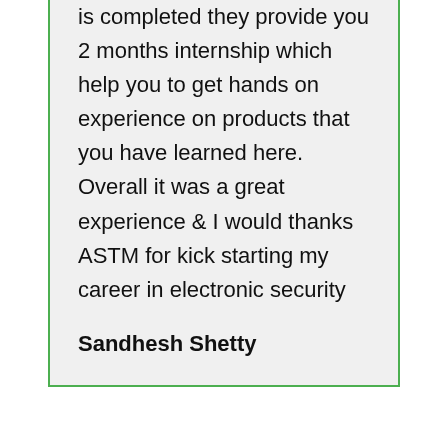is completed they provide you 2 months internship which help you to get hands on experience on products that you have learned here. Overall it was a great experience & I would thanks ASTM for kick starting my career in electronic security
Sandhesh Shetty